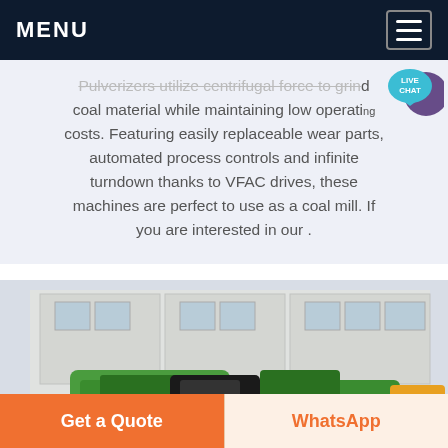MENU
Pulverizers utilize centrifugal force to grind coal material while maintaining low operating costs. Featuring easily replaceable wear parts, automated process controls and infinite turndown thanks to VFAC drives, these machines are perfect to use as a coal mill. If you are interested in our .
[Figure (photo): Industrial green machinery/equipment photographed in front of a large warehouse building with white walls and windows]
Get a Quote
WhatsApp